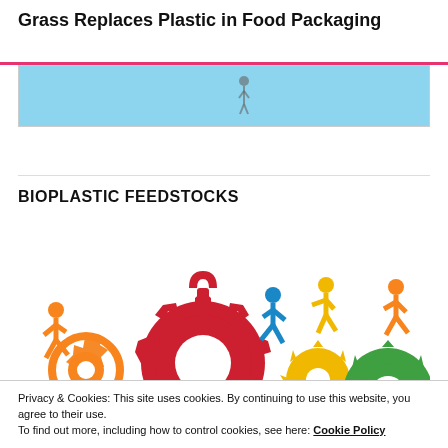Grass Replaces Plastic in Food Packaging
[Figure (photo): Partial banner image with light blue background and a small illustrated figure]
BIOPLASTIC FEEDSTOCKS
[Figure (infographic): Colorful infographic showing illustrated human figures running on gears in orange, red, blue, yellow, and green colors representing bioplastic feedstocks]
Privacy & Cookies: This site uses cookies. By continuing to use this website, you agree to their use.
To find out more, including how to control cookies, see here: Cookie Policy
Close and accept